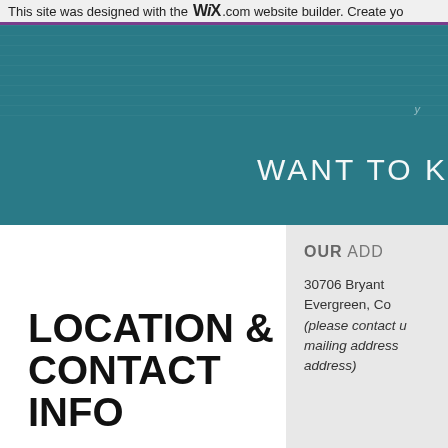This site was designed with the WiX.com website builder. Create yo
[Figure (screenshot): Teal/dark cyan background section with white text 'WANT TO K' partially visible on the right]
LOCATION & CONTACT INFO
OUR ADD
30706 Bryant
Evergreen, Co
(please contact u
mailing address
address)